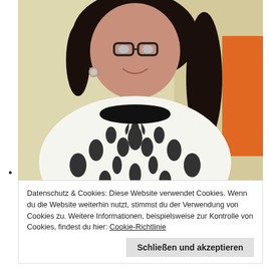[Figure (photo): A young woman with dark hair wearing glasses and a black-and-white patterned top with floral/baroque design, smiling, photographed indoors. A watermark/credit reads 'Alex Joescher Blog' in the bottom right corner.]
•
Datenschutz & Cookies: Diese Website verwendet Cookies. Wenn du die Website weiterhin nutzt, stimmst du der Verwendung von Cookies zu. Weitere Informationen, beispielsweise zur Kontrolle von Cookies, findest du hier: Cookie-Richtlinie
Schließen und akzeptieren